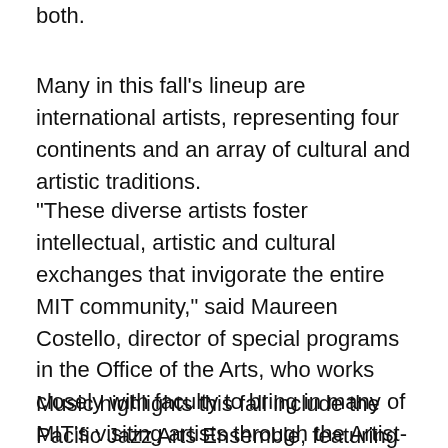both.
Many in this fall's lineup are international artists, representing four continents and an array of cultural and artistic traditions.
"These diverse artists foster intellectual, artistic and cultural exchanges that invigorate the entire MIT community," said Maureen Costello, director of special programs in the Office of the Arts, who works closely with faculty to bring in many of MIT's visiting artists through the Artist-in-Residence Program.
Music highlights this fall include the Pacific Jazz Arts Ensemble, featuring jazz artist Harold Anderson and